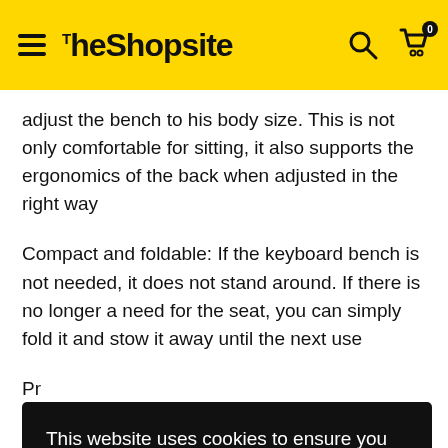The Shopsite
adjust the bench to his body size. This is not only comfortable for sitting, it also supports the ergonomics of the back when adjusted in the right way
Compact and foldable: If the keyboard bench is not needed, it does not stand around. If there is no longer a need for the seat, you can simply fold it and stow it away until the next use
Pr... p... e... n...
This website uses cookies to ensure you get the best experience on our website. Learn more Got it!